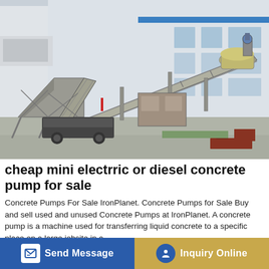[Figure (photo): Outdoor industrial concrete batching plant / mobile concrete pump on a paved yard in front of a multi-storey factory building. The machine is large, metallic grey, with conveyors, hoppers, steel framework, and a truck visible underneath. The building has blue accent stripe and large windows.]
cheap mini electrric or diesel concrete pump for sale
Concrete Pumps For Sale IronPlanet. Concrete Pumps for Sale Buy and sell used and unused Concrete Pumps at IronPlanet. A concrete pump is a machine used for transferring liquid concrete to a specific place on a large jobsite in a